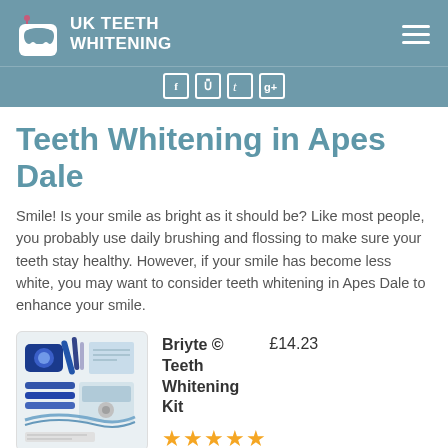UK TEETH WHITENING
Teeth Whitening in Apes Dale
Smile! Is your smile as bright as it should be? Like most people, you probably use daily brushing and flossing to make sure your teeth stay healthy. However, if your smile has become less white, you may want to consider teeth whitening in Apes Dale to enhance your smile.
[Figure (photo): Product photo of Briyte Teeth Whitening Kit showing a blue LED light device, whitening pens, and accessories]
Briyte © Teeth Whitening Kit
£14.23
★★★★★